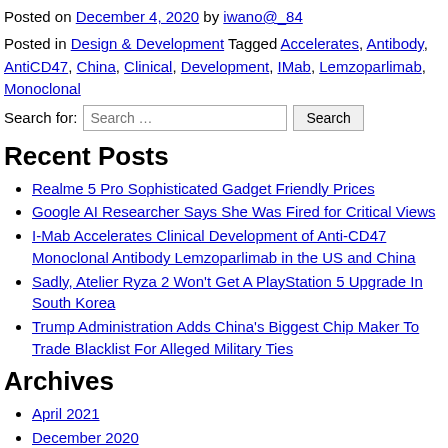Posted on December 4, 2020 by iwano@_84
Posted in Design & Development Tagged Accelerates, Antibody, AntiCD47, China, Clinical, Development, IMab, Lemzoparlimab, Monoclonal
Search for:
Recent Posts
Realme 5 Pro Sophisticated Gadget Friendly Prices
Google AI Researcher Says She Was Fired for Critical Views
I-Mab Accelerates Clinical Development of Anti-CD47 Monoclonal Antibody Lemzoparlimab in the US and China
Sadly, Atelier Ryza 2 Won't Get A PlayStation 5 Upgrade In South Korea
Trump Administration Adds China's Biggest Chip Maker To Trade Blacklist For Alleged Military Ties
Archives
April 2021
December 2020
November 2020